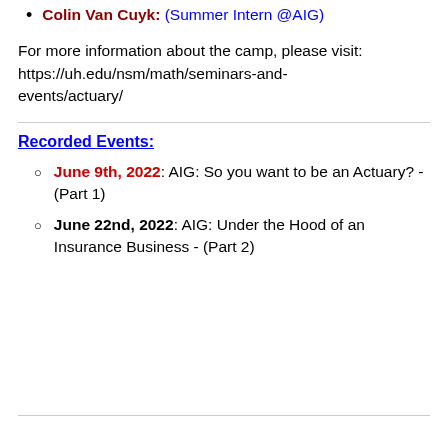Colin Van Cuyk: (Summer Intern @AIG)
For more information about the camp, please visit: https://uh.edu/nsm/math/seminars-and-events/actuary/
Recorded Events:
June 9th, 2022: AIG: So you want to be an Actuary? - (Part 1)
June 22nd, 2022: AIG: Under the Hood of an Insurance Business - (Part 2)